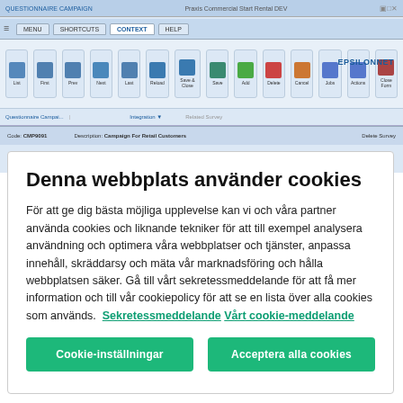[Figure (screenshot): Windows application UI screenshot showing a questionnaire campaign form with toolbar, ribbon buttons (List, First, Prev, Next, Last, Reload, Save & Close, Save, Add, Delete, Cancel, Jobs, Actions, Close Form), tabs (Menu, Shortcuts, Context, Help), EpsilonNet branding, and status bar with Code: CMP9091 and Description: Campaign For Retail Customers.]
Denna webbplats använder cookies
För att ge dig bästa möjliga upplevelse kan vi och våra partner använda cookies och liknande tekniker för att till exempel analysera användning och optimera våra webbplatser och tjänster, anpassa innehåll, skräddarsy och mäta vår marknadsföring och hålla webbplatsen säker. Gå till vårt sekretessmeddelande för att få mer information och till vår cookiepolicy för att se en lista över alla cookies som används.  Sekretessmeddelande  Vårt cookie-meddelande
Cookie-inställningar
Acceptera alla cookies